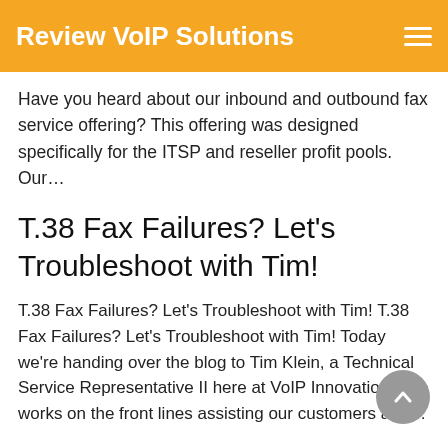Review VoIP Solutions
Have you heard about our inbound and outbound fax service offering? This offering was designed specifically for the ITSP and reseller profit pools. Our…
T.38 Fax Failures? Let's Troubleshoot with Tim!
T.38 Fax Failures? Let's Troubleshoot with Tim! T.38 Fax Failures? Let's Troubleshoot with Tim! Today we're handing over the blog to Tim Klein, a Technical Service Representative II here at VoIP Innovations. He works on the front lines assisting our customers and…
Fax over IP: Yes, It's Still a Big Deal (Here's Why)
Fax over IP: Yes, It's Still a Big Deal (Here's Why) Fax over IP: It…